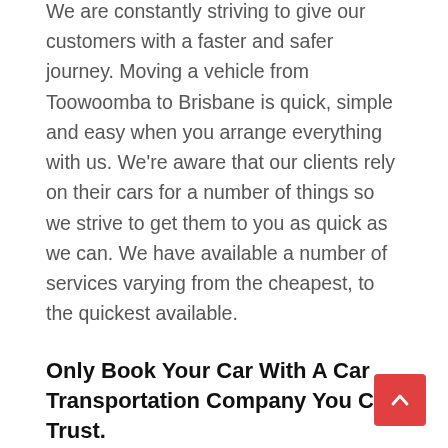We are constantly striving to give our customers with a faster and safer journey. Moving a vehicle from Toowoomba to Brisbane is quick, simple and easy when you arrange everything with us. We're aware that our clients rely on their cars for a number of things so we strive to get them to you as quick as we can. We have available a number of services varying from the cheapest, to the quickest available.
Only Book Your Car With A Car Transportation Company You Can Trust.
Move My Car has been shifting vehicles from Toowoomba to Brisbane for over 25 years. We...